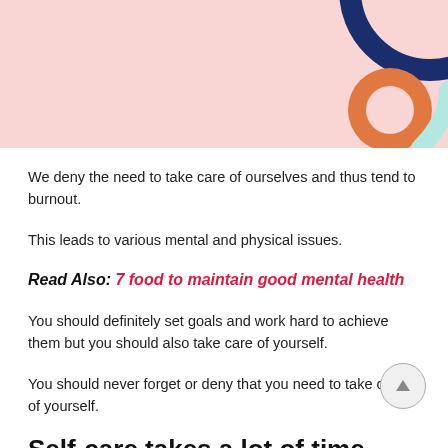[Figure (illustration): Pink banner with decorative circles — dark navy partial circle top right, orange circle with hole, light teal arc — on pink background]
We deny the need to take care of ourselves and thus tend to burnout.
This leads to various mental and physical issues.
Read Also: 7 food to maintain good mental health
You should definitely set goals and work hard to achieve them but you should also take care of yourself.
You should never forget or deny that you need to take care of yourself.
Self-care takes a lot of time.